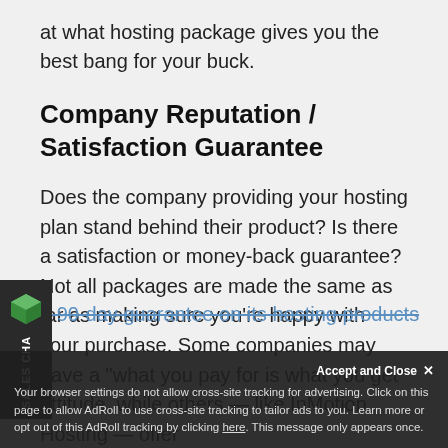at what hosting package gives you the best bang for your buck.
Company Reputation / Satisfaction Guarantee
Does the company providing your hosting plan stand behind their product? Is there a satisfaction or money-back guarantee? Not all packages are made the same as far as making sure you're happy with your purchase. Some companies may have a "what you pay for is what you get" attitude, while others — like InMotion Hosting — offer a 90-day guarantee on its hosting products
[Figure (other): Sales Chat widget on the left side with a green cube icon and vertical text reading SALES CHAT]
Accept and Close
Your browser settings do not allow cross-site tracking for advertising. Click on this page to allow AdRoll to use cross-site tracking to tailor ads to you. Learn more or opt out of this AdRoll tracking by clicking here. This message only appears once.